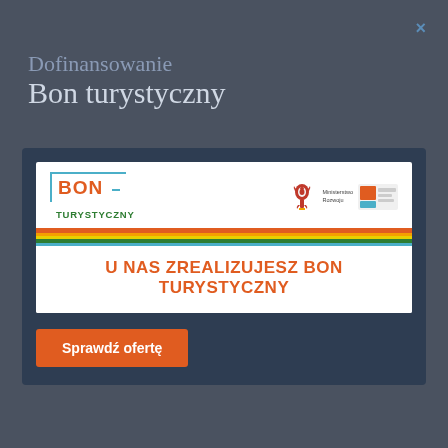×
Dofinansowanie
Bon turystyczny
[Figure (infographic): Bon Turystyczny banner with logo, Polish eagle emblem, ministry logos, colored stripes, and text 'U NAS ZREALIZUJESZ BON TURYSTYCZNY']
Sprawdź ofertę